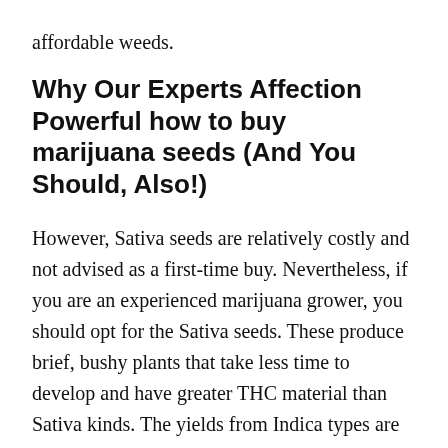affordable weeds.
Why Our Experts Affection Powerful how to buy marijuana seeds (And You Should, Also!)
However, Sativa seeds are relatively costly and not advised as a first-time buy. Nevertheless, if you are an experienced marijuana grower, you should opt for the Sativa seeds. These produce brief, bushy plants that take less time to develop and have greater THC material than Sativa kinds. The yields from Indica types are smaller however use relaxing and relaxing